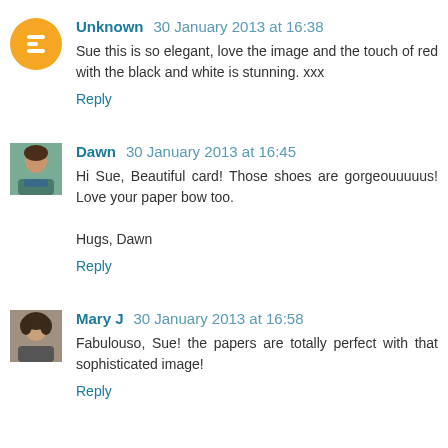Unknown 30 January 2013 at 16:38
Sue this is so elegant, love the image and the touch of red with the black and white is stunning. xxx
Reply
Dawn 30 January 2013 at 16:45
Hi Sue, Beautiful card! Those shoes are gorgeouuuuus! Love your paper bow too.
Hugs, Dawn
Reply
Mary J 30 January 2013 at 16:58
Fabulouso, Sue! the papers are totally perfect with that sophisticated image!
Reply